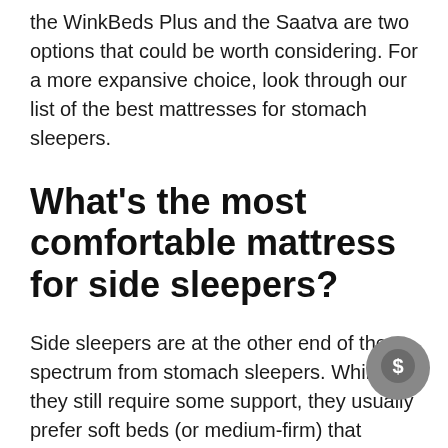the WinkBeds Plus and the Saatva are two options that could be worth considering. For a more expansive choice, look through our list of the best mattresses for stomach sleepers.
What's the most comfortable mattress for side sleepers?
Side sleepers are at the other end of the spectrum from stomach sleepers. While they still require some support, they usually prefer soft beds (or medium-firm) that provide plenty of cushioning for their hips and shoulders. A majority of the mattresses on this list should be considered fit for side